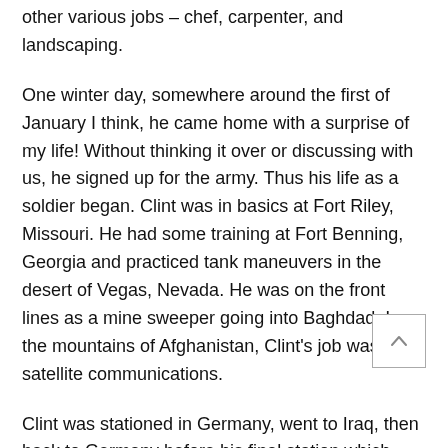other various jobs – chef, carpenter, and landscaping.
One winter day, somewhere around the first of January I think, he came home with a surprise of my life! Without thinking it over or discussing with us, he signed up for the army. Thus his life as a soldier began. Clint was in basics at Fort Riley, Missouri. He had some training at Fort Benning, Georgia and practiced tank maneuvers in the desert of Vegas, Nevada. He was on the front lines as a mine sweeper going into Baghdad. In the mountains of Afghanistan, Clint's job was in satellite communications.
Clint was stationed in Germany, went to Iraq, then back to Germany before his final station which was Fort Huachuca, Arizona. He was a sergeant there before coming down with Acute Myeloid Leukemia.